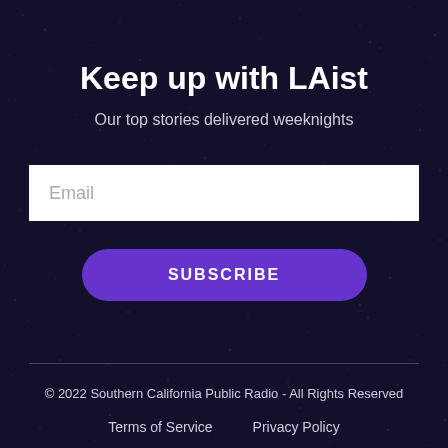Keep up with LAist
Our top stories delivered weeknights
Email
SUBSCRIBE
© 2022 Southern California Public Radio - All Rights Reserved
Terms of Service    Privacy Policy